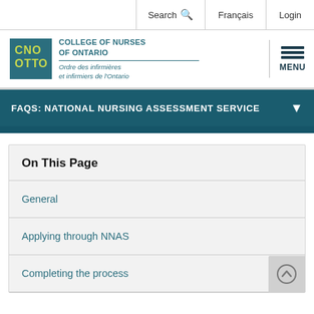Search | Français | Login
[Figure (logo): College of Nurses of Ontario / Ordre des infirmières et infirmiers de l'Ontario logo with teal CNO box and text]
FAQS: NATIONAL NURSING ASSESSMENT SERVICE
On This Page
General
Applying through NNAS
Completing the process